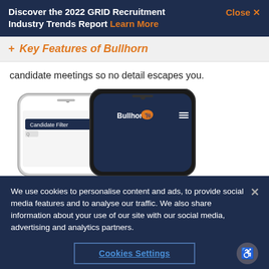Discover the 2022 GRID Recruitment Industry Trends Report Learn More
+ Key Features of Bullhorn
candidate meetings so no detail escapes you.
[Figure (photo): Two smartphones showing Bullhorn mobile app interface with Candidate Filter and Bullhorn logo screens]
We use cookies to personalise content and ads, to provide social media features and to analyse our traffic. We also share information about your use of our site with our social media, advertising and analytics partners.
Cookies Settings